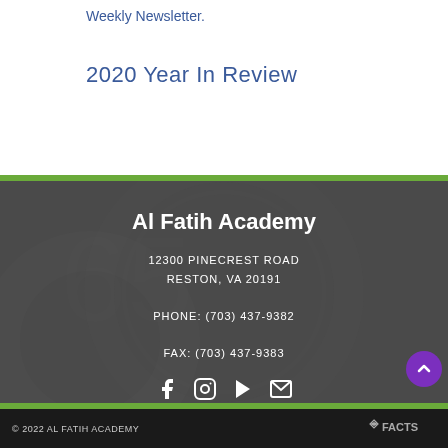Weekly Newsletter.
2020 Year In Review
Al Fatih Academy
12300 PINECREST ROAD
RESTON, VA 20191

PHONE: (703) 437-9382

FAX: (703) 437-9383
[Figure (logo): Social media icons: Facebook, Instagram, YouTube, Email]
[Figure (logo): Partner logos: CSEE, ISLA, cognia, isna2]
© 2022 AL FATIH ACADEMY